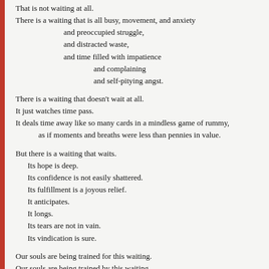That is not waiting at all.
There is a waiting that is all busy, movement, and anxiety
    and preoccupied struggle,
    and distracted waste,
    and time filled with impatience
        and complaining
        and self-pitying angst.

There is a waiting that doesn't wait at all.
It just watches time pass.
It deals time away like so many cards in a mindless game of rummy,
    as if moments and breaths were less than pennies in value.

But there is a waiting that waits.
    Its hope is deep.
    Its confidence is not easily shattered.
    Its fulfillment is a joyous relief.
    It anticipates.
    It longs.
    Its tears are not in vain.
    Its vindication is sure.

Our souls are being trained for this waiting.
Our souls are being trained by this waiting.